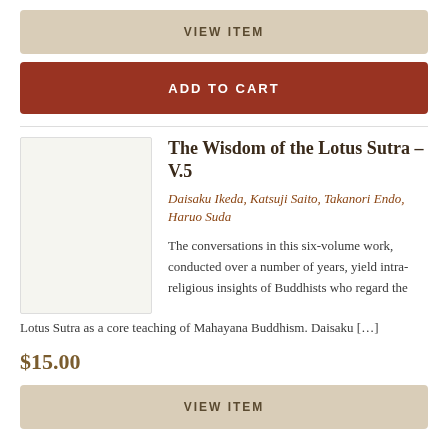VIEW ITEM
ADD TO CART
The Wisdom of the Lotus Sutra – V.5
Daisaku Ikeda, Katsuji Saito, Takanori Endo, Haruo Suda
The conversations in this six-volume work, conducted over a number of years, yield intra-religious insights of Buddhists who regard the Lotus Sutra as a core teaching of Mahayana Buddhism. Daisaku […]
$15.00
VIEW ITEM